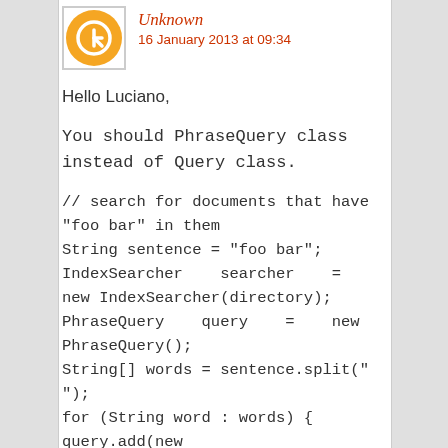[Figure (illustration): Blogger user avatar: orange circle with white B-like icon, inside a square border]
Unknown
16 January 2013 at 09:34
Hello Luciano,
You should PhraseQuery class instead of Query class.
// search for documents that have "foo bar" in them
String sentence = "foo bar";
IndexSearcher    searcher    =    new IndexSearcher(directory);
PhraseQuery    query    =    new PhraseQuery();
String[] words = sentence.split(" ");
for (String word : words) {
query.add(new         Term("contents", word));
}
Check out these links for more working examples.